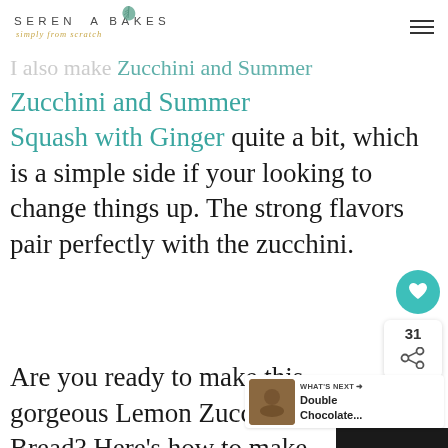Serena Bakes Simply From Scratch
Never mind don't answer that.
I also make Zucchini and Summer Squash with Ginger quite a bit, which is a simple side if your looking to change things up. The strong flavors pair perfectly with the zucchini.
Are you ready to make this gorgeous Lemon Zucchini Bread? Here's how to make it: